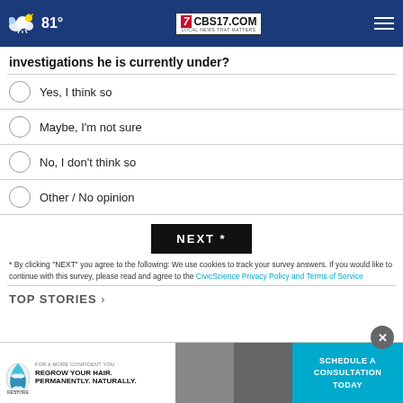81° CBS17.COM LOCAL NEWS THAT MATTERS
investigations he is currently under?
Yes, I think so
Maybe, I'm not sure
No, I don't think so
Other / No opinion
NEXT *
* By clicking "NEXT" you agree to the following: We use cookies to track your survey answers. If you would like to continue with this survey, please read and agree to the CivicScience Privacy Policy and Terms of Service
TOP STORIES ›
[Figure (screenshot): Advertisement banner: hair restoration clinic ad with person photos and 'SCHEDULE A CONSULTATION TODAY' call to action in teal]